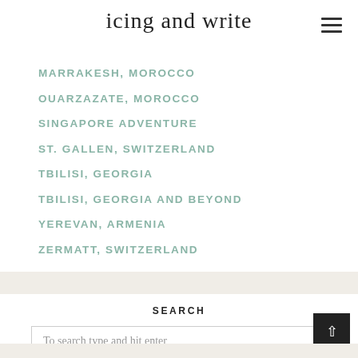icing and write
MARRAKESH, MOROCCO
OUARZAZATE, MOROCCO
SINGAPORE ADVENTURE
ST. GALLEN, SWITZERLAND
TBILISI, GEORGIA
TBILISI, GEORGIA AND BEYOND
YEREVAN, ARMENIA
ZERMATT, SWITZERLAND
SEARCH
To search type and hit enter